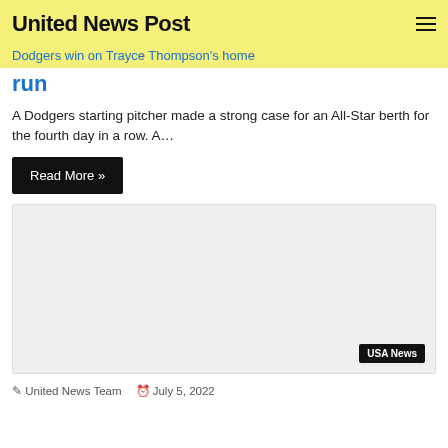United News Post
Dodgers win on Trayce Thompson's home run
A Dodgers starting pitcher made a strong case for an All-Star berth for the fourth day in a row. A…
Read More »
[Figure (photo): Gray placeholder image with USA News badge in bottom right corner]
United News Team   July 5, 2022